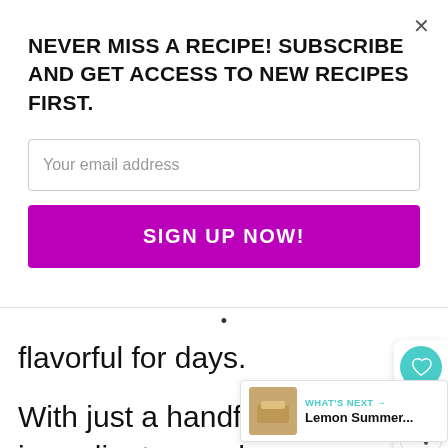NEVER MISS A RECIPE! SUBSCRIBE AND GET ACCESS TO NEW RECIPES FIRST.
Your email address
SIGN UP NOW!
flavorful for days.
With just a handful of ingredients, you have a delicious and fl... marinade that can be prepared